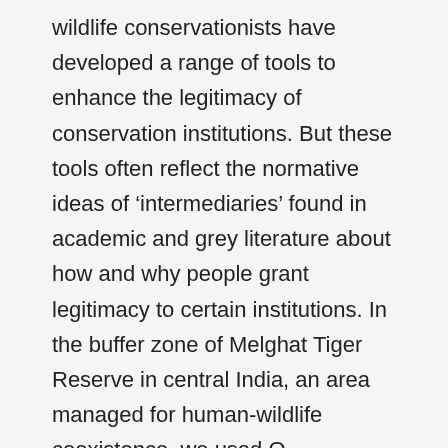wildlife conservationists have developed a range of tools to enhance the legitimacy of conservation institutions. But these tools often reflect the normative ideas of 'intermediaries' found in academic and grey literature about how and why people grant legitimacy to certain institutions. In the buffer zone of Melghat Tiger Reserve in central India, an area managed for human-wildlife coexistence, we used Q methodology to understand how people who regularly encounter wildlife assess some of the ideas currently circulating in wildlife conservation discourses about enhancing the legitimacy of coexistence institutions. There was consensus that some of